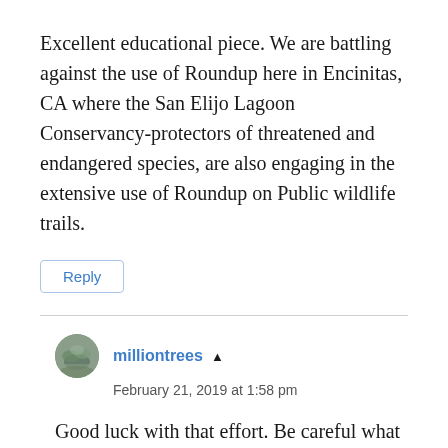Excellent educational piece. We are battling against the use of Roundup here in Encinitas, CA where the San Elijo Lagoon Conservancy-protectors of threatened and endangered species, are also engaging in the extensive use of Roundup on Public wildlife trails.
Reply
milliontrees
February 21, 2019 at 1:58 pm
Good luck with that effort. Be careful what you ask for. If they agree to prohibit the use